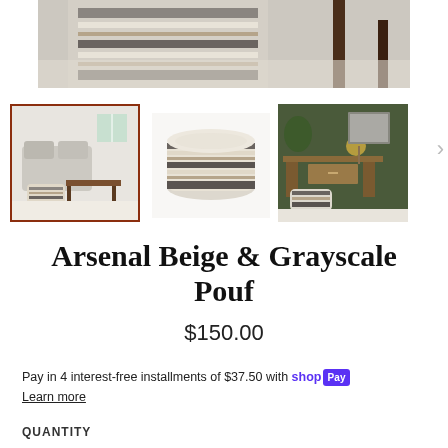[Figure (photo): Top zoomed-in photo of striped beige and gray woven pouf on a rug near table legs]
[Figure (photo): Thumbnail 1 (selected): Pouf in living room next to sofa]
[Figure (photo): Thumbnail 2: Close-up of the striped pouf on white background]
[Figure (photo): Thumbnail 3: Pouf under desk in dark green room]
Arsenal Beige & Grayscale Pouf
$150.00
Pay in 4 interest-free installments of $37.50 with shop Pay
Learn more
QUANTITY